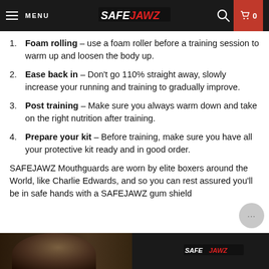MENU | SAFEJAWZ | 0
Foam rolling – use a foam roller before a training session to warm up and loosen the body up.
Ease back in – Don't go 110% straight away, slowly increase your running and training to gradually improve.
Post training – Make sure you always warm down and take on the right nutrition after training.
Prepare your kit – Before training, make sure you have all your protective kit ready and in good order.
SAFEJAWZ Mouthguards are worn by elite boxers around the World, like Charlie Edwards, and so you can rest assured you'll be in safe hands with a SAFEJAWZ gum shield
[Figure (photo): Bottom strip showing a boxer's face on the left and SAFEJAWZ logo on the right against a dark background]